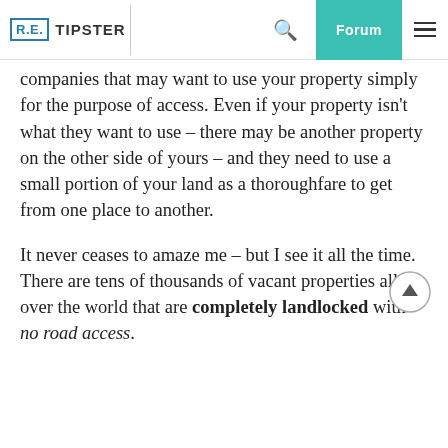RE TIPSTER | Search | Forum | Menu
companies that may want to use your property simply for the purpose of access. Even if your property isn't what they want to use – there may be another property on the other side of yours – and they need to use a small portion of your land as a thoroughfare to get from one place to another.
It never ceases to amaze me – but I see it all the time. There are tens of thousands of vacant properties all over the world that are completely landlocked with no road access.